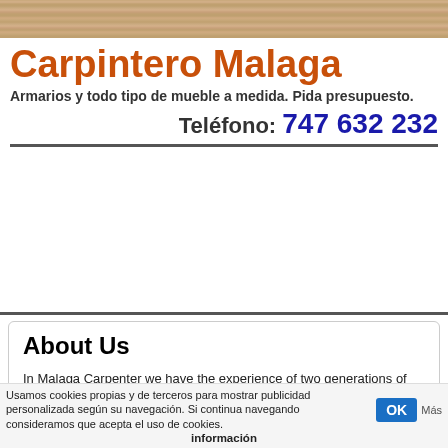[Figure (photo): Wood texture banner at top of page]
Carpintero Malaga
Armarios y todo tipo de mueble a medida. Pida presupuesto.
Teléfono: 747 632 232
About Us
In Malaga Carpenter we have the experience of two generations of cabinetmakers. We started more than 15 years ago in Andalusia, in The
Usamos cookies propias y de terceros para mostrar publicidad personalizada según su navegación. Si continua navegando consideramos que acepta el uso de cookies. OK Más información